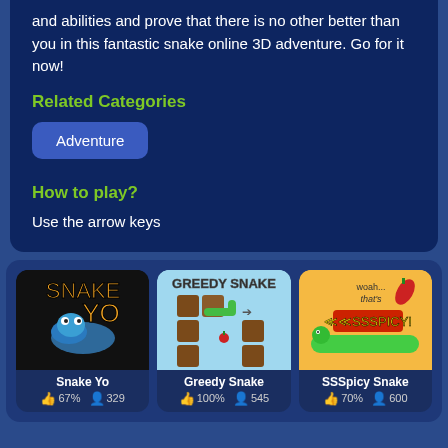and abilities and prove that there is no other better than you in this fantastic snake online 3D adventure. Go for it now!
Related Categories
Adventure
How to play?
Use the arrow keys
[Figure (screenshot): Snake Yo game thumbnail - black background with orange snake text and blue cartoon snake]
Snake Yo
67% 329
[Figure (screenshot): Greedy Snake game thumbnail - blue background with brown block maze and green snake]
Greedy Snake
100% 545
[Figure (screenshot): SSSpicy Snake game thumbnail - orange/yellow background with green snake and spicy text]
SSSpicy Snake
70% 600